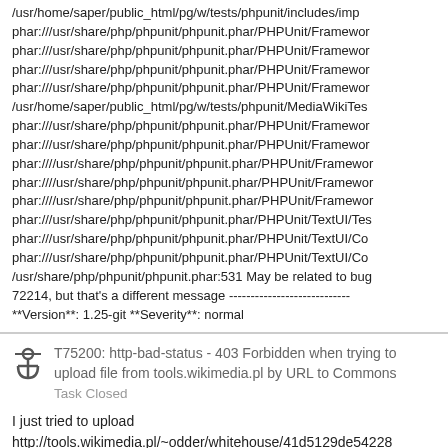/usr/home/saper/public_html/pg/w/tests/phpunit/includes/imp
phar:///usr/share/php/phpunit/phpunit.phar/PHPUnit/Framewor
phar:///usr/share/php/phpunit/phpunit.phar/PHPUnit/Framewor
phar:///usr/share/php/phpunit/phpunit.phar/PHPUnit/Framewor
phar:///usr/share/php/phpunit/phpunit.phar/PHPUnit/Framewor
/usr/home/saper/public_html/pg/w/tests/phpunit/MediaWikiTes
phar:///usr/share/php/phpunit/phpunit.phar/PHPUnit/Framewor
phar:///usr/share/php/phpunit/phpunit.phar/PHPUnit/Framewor
phar:////usr/share/php/phpunit/phpunit.phar/PHPUnit/Framewor
phar:////usr/share/php/phpunit/phpunit.phar/PHPUnit/Framewor
phar:////usr/share/php/phpunit/phpunit.phar/PHPUnit/Framewor
phar:///usr/share/php/phpunit/phpunit.phar/PHPUnit/TextUI/Tes
phar:///usr/share/php/phpunit/phpunit.phar/PHPUnit/TextUI/Co
phar:///usr/share/php/phpunit/phpunit.phar/PHPUnit/TextUI/Co
/usr/share/php/phpunit/phpunit.phar:531 May be related to bug
72214, but that's a different message ----------------------------
**Version**: 1.25-git **Severity**: normal
T75200: http-bad-status - 403 Forbidden when trying to upload file from tools.wikimedia.pl by URL to Commons
Task Closed
I just tried to upload
http://tools.wikimedia.pl/~odder/whitehouse/41d5129de54228
using https://commons.wikimedia.org/wiki/Special:Upload as well
as via API (I have "upload_by_url" userright enabled). Request